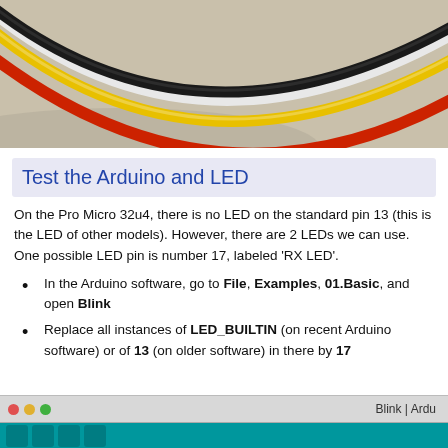[Figure (photo): Close-up photo of colored wires (black, white, yellow, red) curved against a beige background]
Test the Arduino and LED
On the Pro Micro 32u4, there is no LED on the standard pin 13 (this is the LED of other models). However, there are 2 LEDs we can use. One possible LED pin is number 17, labeled 'RX LED'.
In the Arduino software, go to File, Examples, 01.Basic, and open Blink
Replace all instances of LED_BUILTIN (on recent Arduino software) or of 13 (on older software) in there by 17
[Figure (screenshot): Arduino IDE window title bar showing Blink | Ardu with traffic light buttons and teal toolbar]